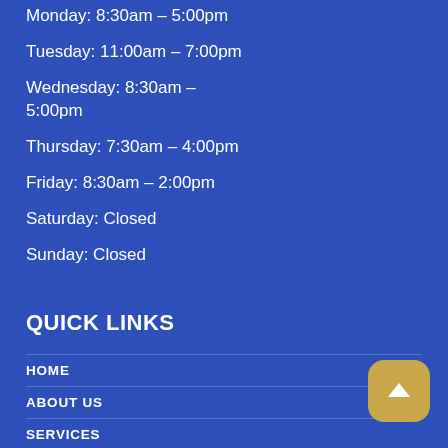Monday: 8:30am – 5:00pm
Tuesday: 11:00am – 7:00pm
Wednesday: 8:30am – 5:00pm
Thursday: 7:30am – 4:00pm
Friday: 8:30am – 2:00pm
Saturday: Closed
Sunday: Closed
QUICK LINKS
HOME
ABOUT US
SERVICES